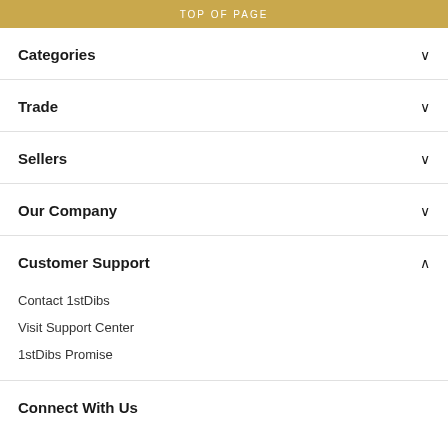TOP OF PAGE
Categories
Trade
Sellers
Our Company
Customer Support
Contact 1stDibs
Visit Support Center
1stDibs Promise
Connect With Us